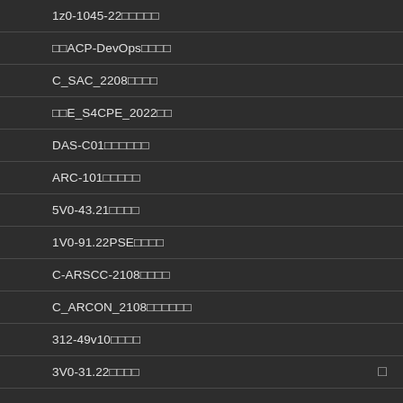1z0-1045-22試験問題
関連ACP-DevOps試験問題
C_SAC_2208試験問題
関連E_S4CPE_2022試験
DAS-C01試験問題集
ARC-101試験問題集
5V0-43.21試験問題
1V0-91.22PSE試験問題
C-ARSCC-2108試験問題
C_ARCON_2108試験問題集
312-49v10試験問題
3V0-31.22試験問題